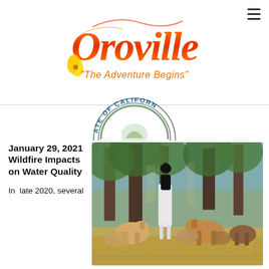[Figure (logo): Oroville city logo with stylized script text 'Oroville' in orange/red gradient with poppy flower, and tagline 'The Adventure Begins' in orange below]
[Figure (logo): Partial circular seal of the State of California, showing 'ATE OF CALIFORN' text arc]
January 29, 2021 Wildfire Impacts on Water Quality
[Figure (photo): Outdoor photo of goats grazing and reaching up into trees in a dry, scrubby landscape with oaks in background]
In late 2020, several